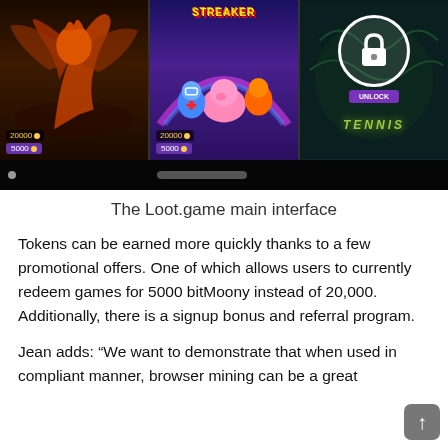[Figure (screenshot): Screenshot of the Loot.game main interface showing three game panels. Left panel has a dark fantasy creature game with badges showing '20000' coins and '5000' cost. Middle panel shows a colorful cartoon game (Streaker) with similar badges. Right panel shows a locked game with a lock icon, UNLOCK button, and 'TENNIS' text visible.]
The Loot.game main interface
Tokens can be earned more quickly thanks to a few promotional offers. One of which allows users to currently redeem games for 5000 bitMoony instead of 20,000. Additionally, there is a signup bonus and referral program.
Jean adds: “We want to demonstrate that when used in compliant manner, browser mining can be a great